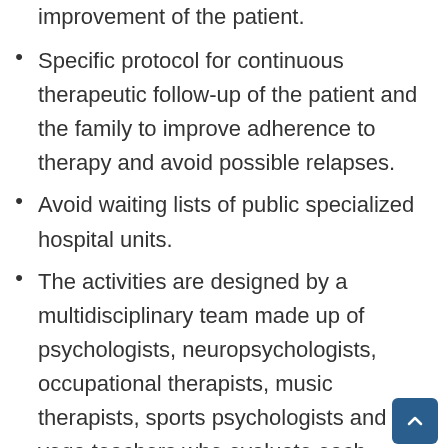improvement of the patient.
Specific protocol for continuous therapeutic follow-up of the patient and the family to improve adherence to therapy and avoid possible relapses.
Avoid waiting lists of public specialized hospital units.
The activities are designed by a multidisciplinary team made up of psychologists, neuropsychologists, occupational therapists, music therapists, sports psychologists and yoga teachers who evaluate each person on a case-by-case basis and develop their interventions with...